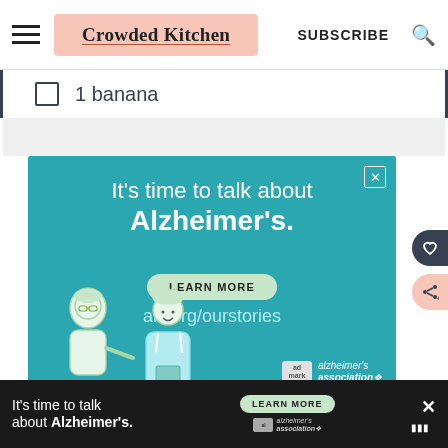Crowded Kitchen — SUBSCRIBE
1 banana
[Figure (illustration): Advertisement for Alzheimer's Association: 'It's time to talk about Alzheimer's.' with LEARN MORE button, alz.org/ourstories URL, illustrated figures of two elderly people, and alzheimer's association logo.]
[Figure (illustration): Bottom banner advertisement for Alzheimer's Association: 'It's time to talk about Alzheimer's.' with LEARN MORE button and alzheimer's association logo.]